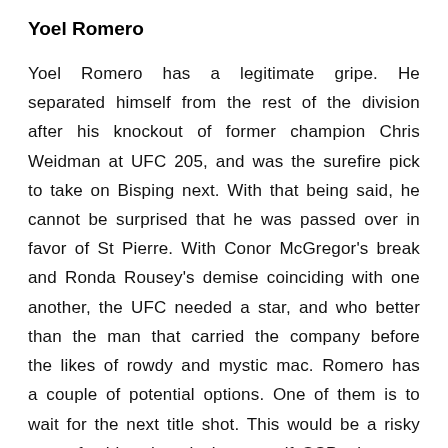Yoel Romero
Yoel Romero has a legitimate gripe. He separated himself from the rest of the division after his knockout of former champion Chris Weidman at UFC 205, and was the surefire pick to take on Bisping next. With that being said, he cannot be surprised that he was passed over in favor of St Pierre. With Conor McGregor's break and Ronda Rousey's demise coinciding with one another, the UFC needed a star, and who better than the man that carried the company before the likes of rowdy and mystic mac. Romero has a couple of potential options. One of them is to wait for the next title shot. This would be a risky move for him, though, because if GSP wins, you know the UFC is thinking about a super fight with Anderson Silva for the title next.